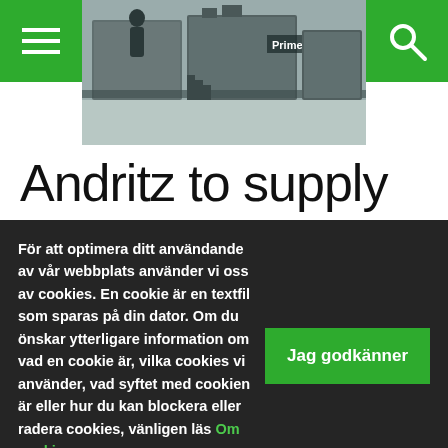[Figure (photo): Industrial machinery (PrimeLine equipment) in a factory setting, viewed from the side showing conveyor systems and mechanical components. Green navigation bar with hamburger menu on left and search icon on right overlaid on the image.]
Andritz to supply
För att optimera ditt användande av vår webbplats använder vi oss av cookies. En cookie är en textfil som sparas på din dator. Om du önskar ytterligare information om vad en cookie är, vilka cookies vi använder, vad syftet med cookien är eller hur du kan blockera eller radera cookies, vänligen läs Om cookies.